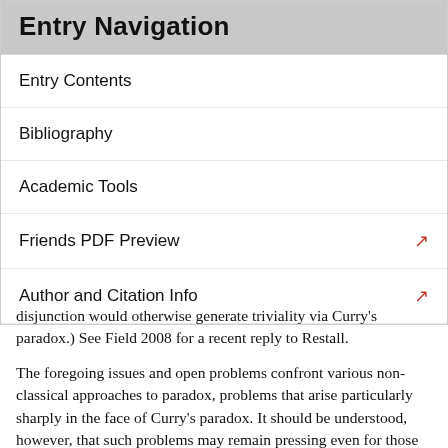Entry Navigation
Entry Contents
Bibliography
Academic Tools
Friends PDF Preview
Author and Citation Info
disjunction would otherwise generate triviality via Curry's paradox.) See Field 2008 for a recent reply to Restall.
The foregoing issues and open problems confront various non-classical approaches to paradox, problems that arise particularly sharply in the face of Curry's paradox. It should be understood, however, that such problems may remain pressing even for those who are firmly committed to classical approaches to paradox. After all, one might be interested not so much in accepting or believing such non-classical proposals, but rather in using such proposals to model various naive but non-trivial theories — naive truth